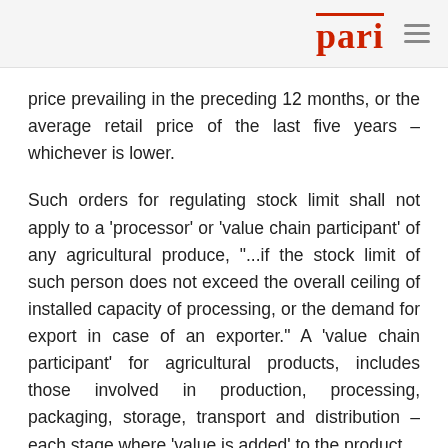pari
price prevailing in the preceding 12 months, or the average retail price of the last five years – whichever is lower.
Such orders for regulating stock limit shall not apply to a 'processor' or 'value chain participant' of any agricultural produce, "...if the stock limit of such person does not exceed the overall ceiling of installed capacity of processing, or the demand for export in case of an exporter." A 'value chain participant' for agricultural products, includes those involved in production, processing, packaging, storage, transport and distribution – each stage where 'value is added' to the product.
Nothing in sub-section (1A) – which the Amendment